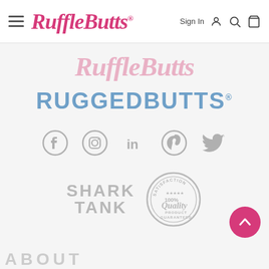RuffleButts® navigation bar with hamburger menu, logo, search, cart, and Sign In
[Figure (logo): RuffleButts script logo in pink cursive]
[Figure (logo): RUGGEDBUTTS bold blue logo]
[Figure (infographic): Social media icons: Facebook, Instagram, LinkedIn, Pinterest, Twitter in gray]
[Figure (infographic): Shark Tank badge and 100% Quality Satisfaction Guaranteed seal in gray]
ABOUT